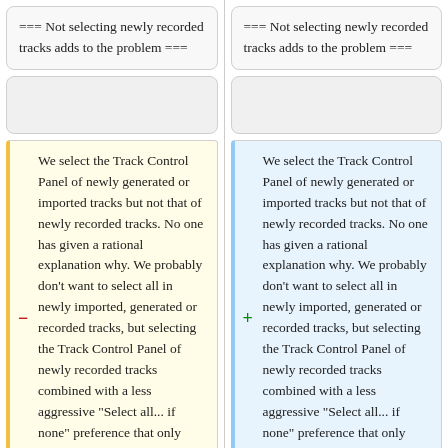=== Not selecting newly recorded tracks adds to the problem ===
=== Not selecting newly recorded tracks adds to the problem ===
We select the Track Control Panel of newly generated or imported tracks but not that of newly recorded tracks. No one has given a rational explanation why. We probably don't want to select all in newly imported, generated or recorded tracks, but selecting the Track Control Panel of newly recorded tracks combined with a less aggressive "Select all... if none" preference that only selected all in selected tracks would go a long way to
We select the Track Control Panel of newly generated or imported tracks but not that of newly recorded tracks. No one has given a rational explanation why. We probably don't want to select all in newly imported, generated or recorded tracks, but selecting the Track Control Panel of newly recorded tracks combined with a less aggressive "Select all... if none" preference that only selected all in selected tracks would go a long way to